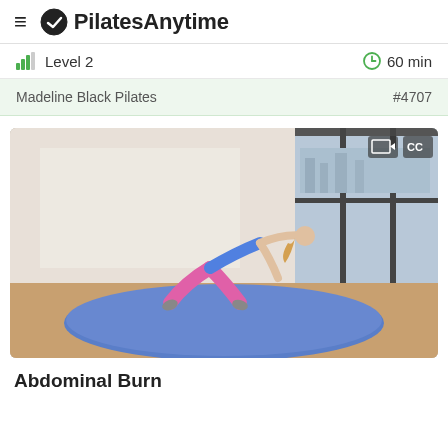PilatesAnytime
Level 2  60 min
Madeline Black Pilates  #4707
[Figure (photo): Woman in pink leggings and blue sports bra performing a pilates move on a round blue mat in a bright studio with large windows. Video player icons (screen and CC) visible in top right corner.]
Abdominal Burn